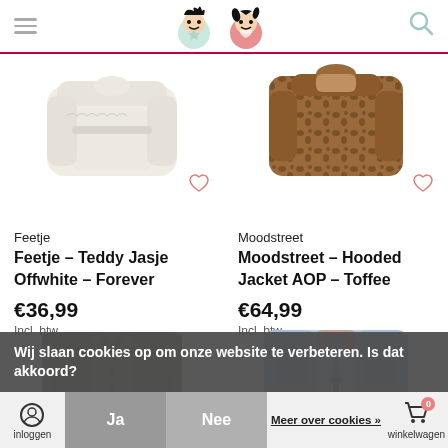Navigation header with logo
[Figure (photo): White teddy jacket product photo (Feetje Teddy Jasje Offwhite)]
Feetje
Feetje – Teddy Jasje Offwhite – Forever
€36,99
Incl. btw
[Figure (photo): Brown leopard print hooded jacket product photo (Moodstreet Hooded Jacket AOP Toffee)]
Moodstreet
Moodstreet – Hooded Jacket AOP – Toffee
€64,99
Incl. btw
[Figure (photo): Khaki green military style shirt jacket product photo]
[Figure (photo): Light denim jacket product photo]
Wij slaan cookies op om onze website te verbeteren. Is dat akkoord?
Ja
Nee
Meer over cookies »
inloggen | verlangjlijst | winkelwagen